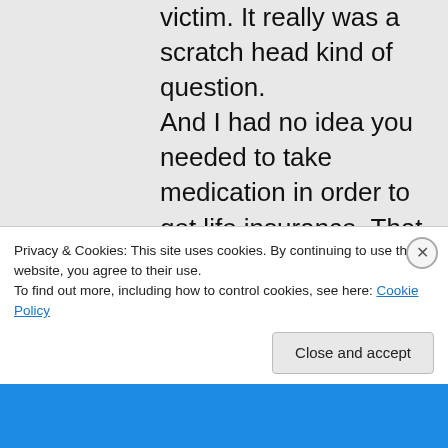victim. It really was a scratch head kind of question. And I had no idea you needed to take medication in order to get life insurance. That is shocking. As to believing doctors well, given the track record of science/medicine why would one but then I do read and research a lot and I guess
Privacy & Cookies: This site uses cookies. By continuing to use this website, you agree to their use.
To find out more, including how to control cookies, see here: Cookie Policy